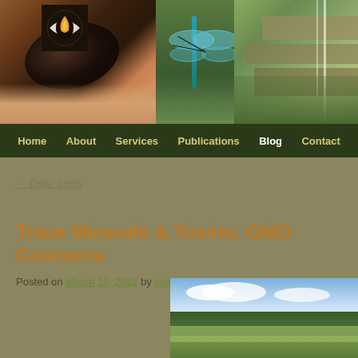[Figure (photo): Website header banner showing nature photos: a hand holding a dark mussel/shell, a blue-green dragonfly on a plant, and a mossy rocky waterfall or stream. A logo with a yellow flame/leaf eye symbol on dark background is in the top left corner.]
Home | About | Services | Publications | Blog | Contact
← Older posts
Trace Minerals & Toxins: GMO Concerns
Posted on March 18, 2012 by sigrungadwa
[Figure (photo): Landscape photo showing an open green field or meadow with trees/forest in the background and a partly cloudy blue sky.]